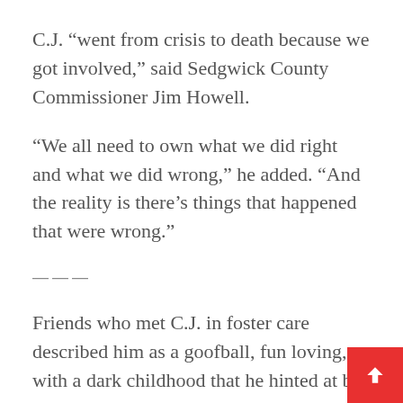C.J. “went from crisis to death because we got involved,” said Sedgwick County Commissioner Jim Howell.
“We all need to own what we did right and what we did wrong,” he added. “And the reality is there’s things that happened that were wrong.”
———
Friends who met C.J. in foster care described him as a goofball, fun loving, with a dark childhood that he hinted at but never talked about much.
“He would dance everywhere, just wiggly, just you know, no coordination at all. Just dancing just to dance,” said Skylar Mannie, 16, of Wichita.
But under the surface, she sensed anxieties. “He